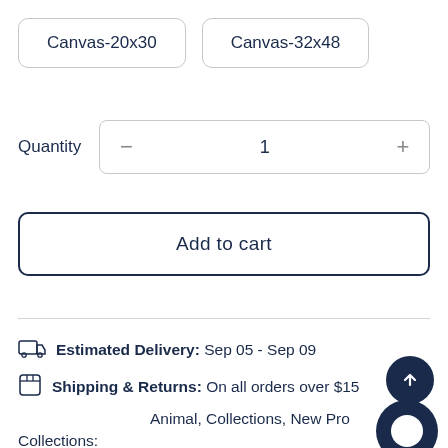Canvas-20x30
Canvas-32x48
Quantity  −  1  +
Add to cart
Estimated Delivery: Sep 05 - Sep 09
Shipping & Returns: On all orders over $15
Collections: Animal, Collections, New Pro